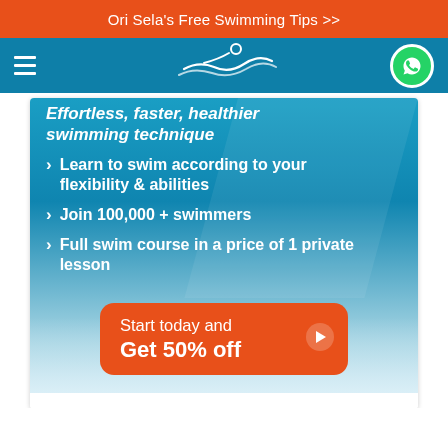Ori Sela's Free Swimming Tips >>
[Figure (screenshot): Navigation bar with hamburger menu on left, swimming logo in center, WhatsApp button on right, on teal/blue background]
[Figure (infographic): Swimming course advertisement on blue/teal background with bullet points: partial text 'Effortless, faster, healthier swimming technique', 'Learn to swim according to your flexibility & abilities', 'Join 100,000 + swimmers', 'Full swim course in a price of 1 private lesson', and orange CTA button 'Start today and Get 50% off']